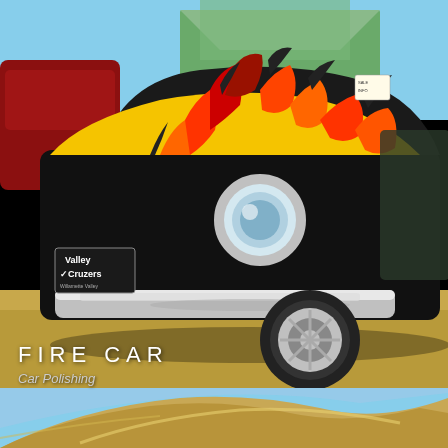[Figure (photo): Classic hot rod car with black body and yellow/orange/red flame paint job, chrome bumper and trim, circular headlight, displayed at a car show. A Valley Cruzers club badge is visible on the bumper. Other vintage cars and a tent canopy visible in background. Dry grass and blue sky visible.]
FIRE CAR
Car Polishing
[Figure (photo): Close-up partial view of a car interior or exterior detail, showing curved tan/gold metallic surfaces against a blue sky background.]